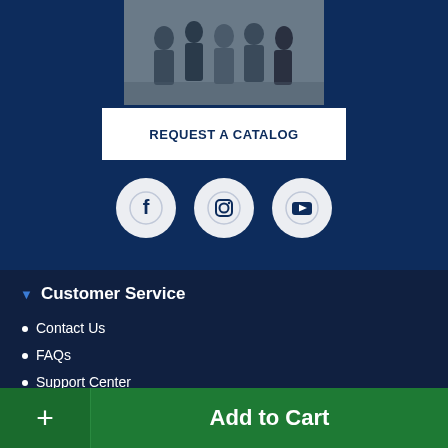[Figure (photo): Photo strip showing a group of people, partially visible at top of page]
REQUEST A CATALOG
[Figure (other): Three social media icon circles: Facebook, Instagram, YouTube]
Customer Service
Contact Us
FAQs
Support Center
Track My Order
Wish List
Add to Cart